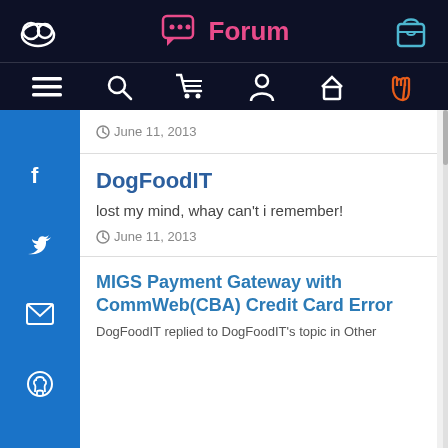Forum
June 11, 2013
DogFoodIT
lost my mind, whay can't i remember!
June 11, 2013
MIGS Payment Gateway with CommWeb(CBA) Credit Card Error
DogFoodIT replied to DogFoodIT's topic in Other